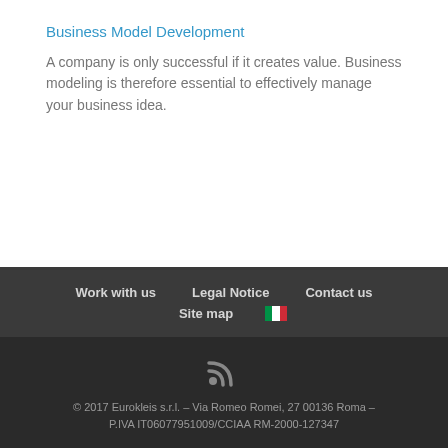Business Model Development
A company is only successful if it creates value. Business modeling is therefore essential to effectively manage your business idea.
Work with us   Legal Notice   Contact us   Site map   🇮🇹
© 2017 Eurokleis s.r.l. – Via Romeo Romei, 27 00136 Roma – P.IVA IT06077951009/CCIAA RM-2000-127347